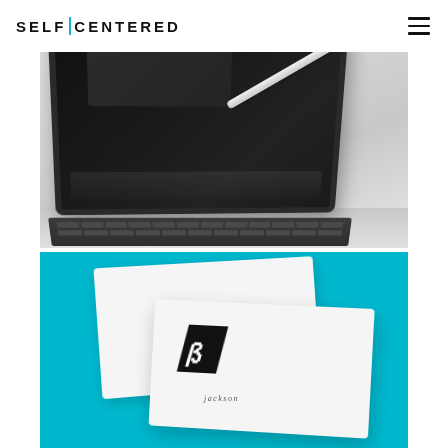SELF | CENTERED
[Figure (photo): iPad Pro with Apple Pencil and Smart Keyboard, photographed from a low angle on a gray background]
[Figure (photo): White business cards with a stylized B logo on a teal/cyan background, one card showing partial text 'jackson']